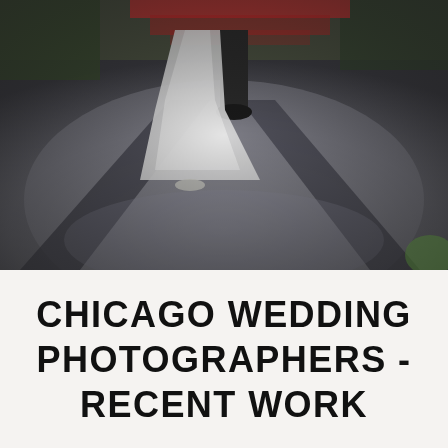[Figure (photo): Outdoor wedding photo showing lower half of a couple, bride in white flowing dress and groom in dark suit, standing on a paved path with long shadows. A red veil or fabric is visible at the top of the image. Moody, desaturated color tones.]
CHICAGO WEDDING PHOTOGRAPHERS - RECENT WORK